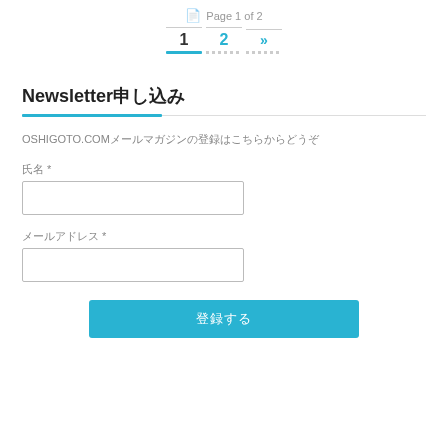Page 1 of 2
Newsletter申し込み
OSHIGOTO.COMメールマガジンの登録はこちらからどうぞ
氏名 *
メールアドレス *
登録する